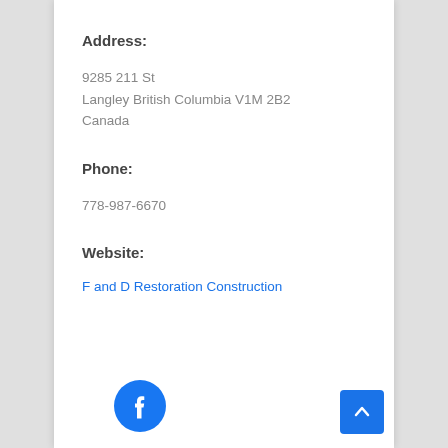Address:
9285 211 St
Langley British Columbia V1M 2B2
Canada
Phone:
778-987-6670
Website:
F and D Restoration Construction
[Figure (logo): Facebook circular logo icon in blue and white]
[Figure (other): Blue square scroll-to-top button with white upward chevron arrow]